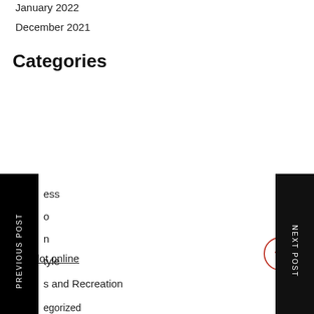January 2022
December 2021
Categories
ess
o
n
tyle
s and Recreation
egorized
rolls
judi slot online
𝅘𝅥𝅮𝅘𝅥𝅮𝅘𝅥𝅮𝅘𝅥𝅮